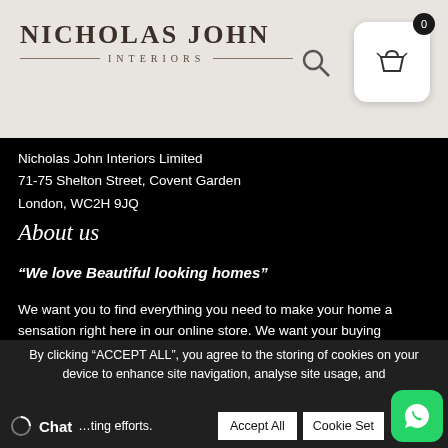NICHOLAS JOHN INTERIORS
Nicholas John Interiors Limited
71-75 Shelton Street, Covent Garden
London, WC2H 9JQ
About us
“We love Beautiful looking homes”
We want you to find everything you need to make your home a sensation right here in our online store. We want your buying experience to be hassle free and as pleasurable an experience as possible.
By clicking “ACCEPT ALL”, you agree to the storing of cookies on your device to enhance site navigation, analyse site usage, and
…ting efforts.
Chat
Accept All
Cookie Set